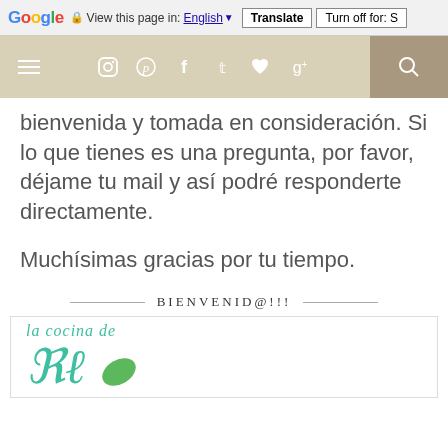[Figure (screenshot): Google Translate toolbar showing 'View this page in: English [dropdown] Translate | Turn off for: S']
[Figure (screenshot): Website navigation bar with hamburger menu, social media icons (Instagram, Pinterest, Facebook, Twitter, heart, Google+), and search icon on a tan/beige background]
bienvenida y tomada en consideración. Si lo que tienes es una pregunta, por favor, déjame tu mail y así podré responderte directamente.
Muchísimas gracias por tu tiempo.
BIENVENID@!!!
[Figure (logo): Blog logo box with 'la cocina de' in teal italic script and a large decorative cursive teal script letter below, with a green leaf shape]